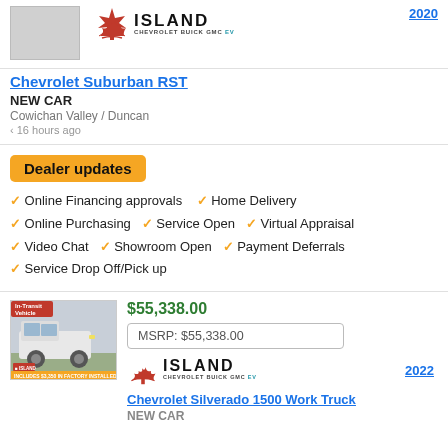[Figure (logo): Island Chevrolet Buick GMC EV logo with maple leaf]
2020
Chevrolet Suburban RST
NEW CAR
Cowichan Valley / Duncan
< 16 hours ago
Dealer updates
Online Financing approvals
Home Delivery
Online Purchasing
Service Open
Virtual Appraisal
Video Chat
Showroom Open
Payment Deferrals
Service Drop Off/Pick up
[Figure (photo): In-Transit Vehicle photo of a Chevrolet Silverado truck]
$55,338.00
MSRP: $55,338.00
[Figure (logo): Island Chevrolet Buick GMC EV logo with maple leaf]
2022
Chevrolet Silverado 1500 Work Truck
NEW CAR